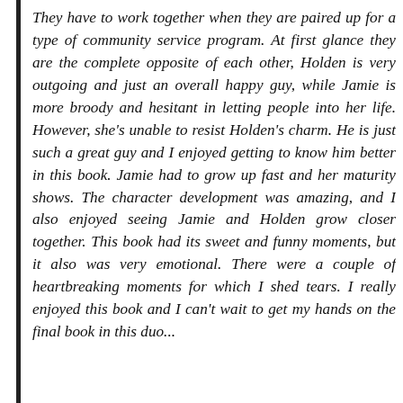They have to work together when they are paired up for a type of community service program. At first glance they are the complete opposite of each other, Holden is very outgoing and just an overall happy guy, while Jamie is more broody and hesitant in letting people into her life. However, she's unable to resist Holden's charm. He is just such a great guy and I enjoyed getting to know him better in this book. Jamie had to grow up fast and her maturity shows. The character development was amazing, and I also enjoyed seeing Jamie and Holden grow closer together. This book had its sweet and funny moments, but it also was very emotional. There were a couple of heartbreaking moments for which I shed tears. I really enjoyed this book and I can't wait to get my hands on the final book in this duo...